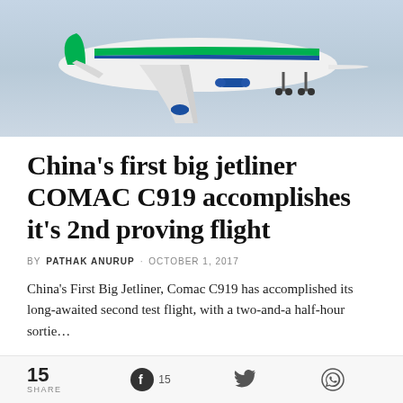[Figure (photo): Airplane (COMAC C919) in flight against a grey sky, white and green livery with blue engine nacelles, landing gear visible]
China's first big jetliner COMAC C919 accomplishes it's 2nd proving flight
BY PATHAK ANURUP · OCTOBER 1, 2017
China's First Big Jetliner, Comac C919 has accomplished its long-awaited second test flight, with a two-and-a half-hour sortie...
15 SHARE  15  (Twitter icon)  (WhatsApp icon)